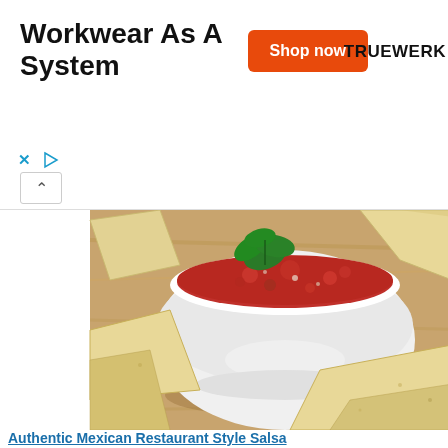[Figure (other): Advertisement banner: 'Workwear As A System' with orange 'Shop now' button and TRUEWERK brand logo]
[Figure (photo): Photo of a white bowl filled with red tomato salsa, garnished with fresh cilantro, surrounded by tortilla chips on a wooden surface]
Authentic Mexican Restaurant Style Salsa